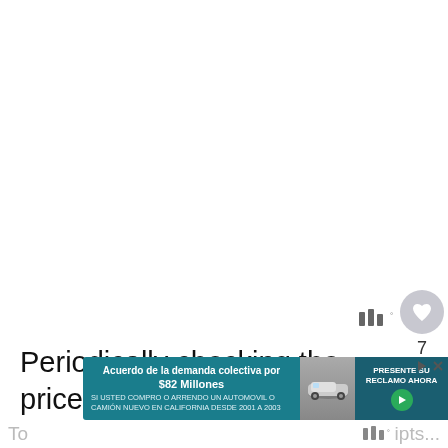Periodically checking the price on Walmart.com to see if it dropped is a TOTAL no-brainer, especially on significant purchases.
[Figure (screenshot): What's Next panel showing a thumbnail and title 'What To Do When Walm...']
[Figure (screenshot): Advertisement banner: 'Acuerdo de la demanda colectiva por $82 Millones SI USTED COMPRO O ARRENDO UN AUTOMOVIL O CAMION NUEVO EN CALIFORNIA DESDE 2001 A 2003' with car image and 'PRESENTE SU RECLAMO AHORA' button]
To...                                                                          ipts...